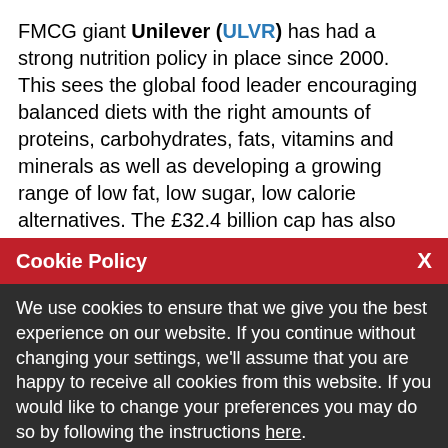FMCG giant Unilever (ULVR) has had a strong nutrition policy in place since 2000. This sees the global food leader encouraging balanced diets with the right amounts of proteins, carbohydrates, fats, vitamins and minerals as well as developing a growing range of low fat, low sugar, low calorie alternatives. The £32.4 billion cap has also harnessed the cholesterol-lowering properties of plant sterols in its pro.activ family, providing cholesterol control.
Cookie Policy  X
We use cookies to ensure that we give you the best experience on our website. If you continue without changing your settings, we'll assume that you are happy to receive all cookies from this website. If you would like to change your preferences you may do so by following the instructions here.